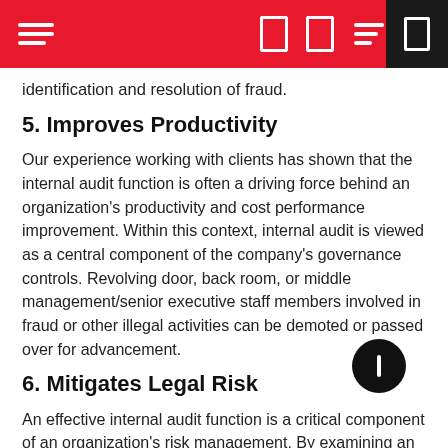Navigation header with hamburger menu and icons
identification and resolution of fraud.
5. Improves Productivity
Our experience working with clients has shown that the internal audit function is often a driving force behind an organization's productivity and cost performance improvement. Within this context, internal audit is viewed as a central component of the company's governance controls. Revolving door, back room, or middle management/senior executive staff members involved in fraud or other illegal activities can be demoted or passed over for advancement.
6. Mitigates Legal Risk
An effective internal audit function is a critical component of an organization's risk management. By examining an organization's internal controls and accounting records, the internal audit function can help to identify fraud, theft, and other illegal activities. This helps to ensure that the